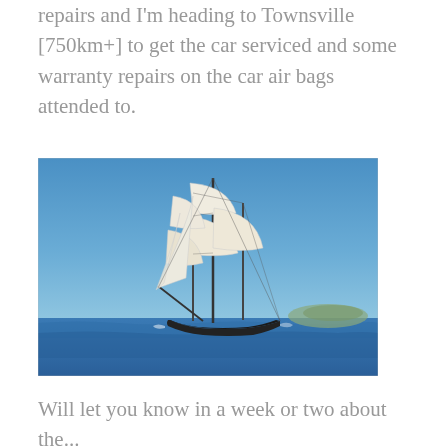repairs and I'm heading to Townsville [750km+] to get the car serviced and some warranty repairs on the car air bags attended to.
[Figure (photo): A tall sailing ship with white sails on blue ocean water, with hills visible in the background under a clear blue sky.]
Will let you know in a week or two about the...